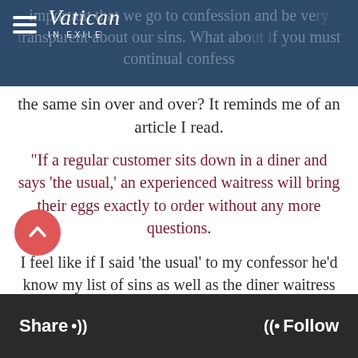Vatican in Exile
important that we go to confession and be very transparent about our sins. What about if you must continual confess the same sin over and over? It reminds me of an article I read.
"If a regular customer sits down in a diner and says 'the usual,' an experienced waitress will bring their eggs exactly to order without any more questions.
I feel like if I said 'the usual' to my confessor he'd know my list of sins as well as the diner waitress knows her regular customers' orders. When I go to confession it sometimes seems a lot like the time before.
I commit the same sins over and over. I guess what I should ask myself is, do I want to get these sins off my... what am I doing to make that happen?
Share •)) Follow